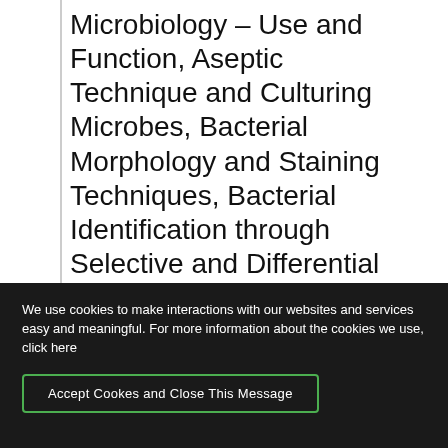Microbiology – Use and Function, Aseptic Technique and Culturing Microbes, Bacterial Morphology and Staining Techniques, Bacterial Identification through Selective and Differential Media, Hand Washing and Normal Flora, Bacterial Enumeration- Dilutions and Plate Counts, Environmental Influences on Microbial Growth – Salt Tolerance and pH Testing, Biochemical Testing for Microbial
We use cookies to make interactions with our websites and services easy and meaningful. For more information about the cookies we use, click here
Accept Cookes and Close This Message